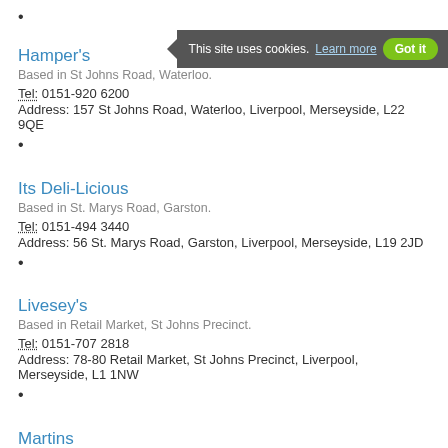•
Hamper's
Based in St Johns Road, Waterloo.
Tel: 0151-920 6200
Address: 157 St Johns Road, Waterloo, Liverpool, Merseyside, L22 9QE
•
Its Deli-Licious
Based in St. Marys Road, Garston.
Tel: 0151-494 3440
Address: 56 St. Marys Road, Garston, Liverpool, Merseyside, L19 2JD
•
Livesey's
Based in Retail Market, St Johns Precinct.
Tel: 0151-707 2818
Address: 78-80 Retail Market, St Johns Precinct, Liverpool, Merseyside, L1 1NW
•
Martins